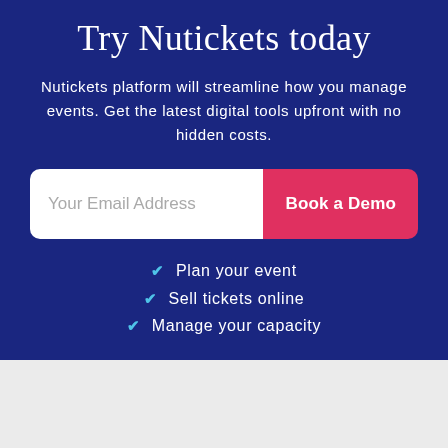Try Nutickets today
Nutickets platform will streamline how you manage events. Get the latest digital tools upfront with no hidden costs.
[Figure (other): Email address input field with 'Your Email Address' placeholder text and a pink 'Book a Demo' button]
Plan your event
Sell tickets online
Manage your capacity